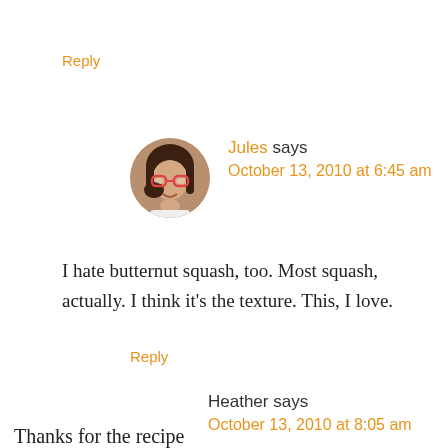Reply
Jules says
October 13, 2010 at 6:45 am
I hate butternut squash, too. Most squash, actually. I think it's the texture. This, I love.
Reply
Heather says
October 13, 2010 at 8:05 am
Thanks for the recipe